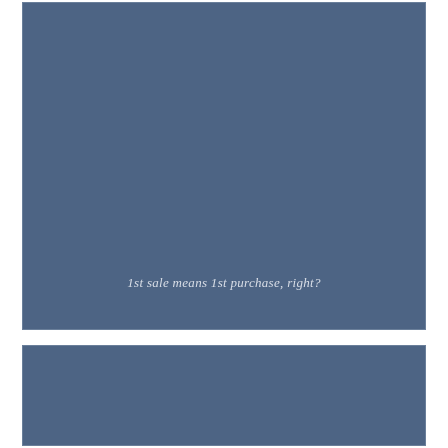[Figure (illustration): Large blue-grey rectangular panel occupying the upper portion of the page, with italic white text near the bottom reading '1st sale means 1st purchase, right?']
1st sale means 1st purchase, right?
[Figure (illustration): Smaller blue-grey rectangular panel in the lower portion of the page, no text visible.]